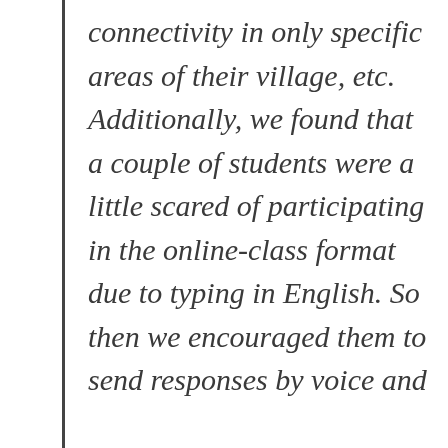connectivity in only specific areas of their village, etc. Additionally, we found that a couple of students were a little scared of participating in the online-class format due to typing in English. So then we encouraged them to send responses by voice and